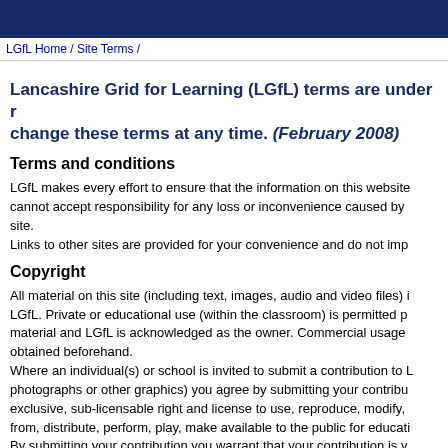LGfL Home / Site Terms /
Lancashire Grid for Learning (LGfL) terms are under r change these terms at any time. (February 2008)
Terms and conditions
LGfL makes every effort to ensure that the information on this website cannot accept responsibility for any loss or inconvenience caused by site.
Links to other sites are provided for your convenience and do not imp
Copyright
All material on this site (including text, images, audio and video files) i LGfL. Private or educational use (within the classroom) is permitted p material and LGfL is acknowledged as the owner. Commercial usage obtained beforehand.
Where an individual(s) or school is invited to submit a contribution to L photographs or other graphics) you agree by submitting your contribu exclusive, sub-licensable right and license to use, reproduce, modify, from, distribute, perform, play, make available to the public for educati By submitting your contribution you warrant that your contribution is y right to make it available to LGfL for all the purposes specified above or IPR.